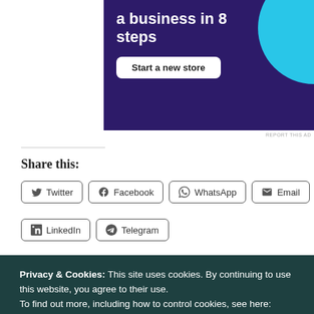[Figure (illustration): Advertisement banner with dark purple background reading 'a business in 8 steps' with a 'Start a new store' button and a cyan circle graphic]
REPORT THIS AD
Share this:
Twitter
Facebook
WhatsApp
Email
LinkedIn
Telegram
Privacy & Cookies: This site uses cookies. By continuing to use this website, you agree to their use. To find out more, including how to control cookies, see here: Cookie Policy
Close and accept